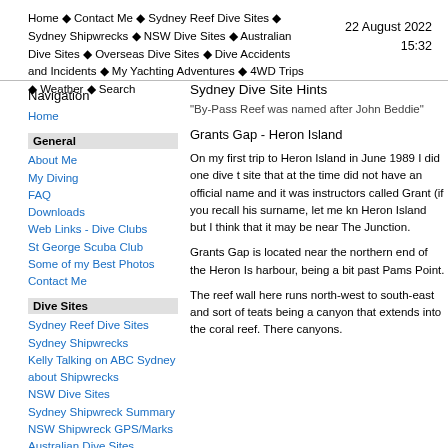Home ◆ Contact Me ◆ Sydney Reef Dive Sites ◆ Sydney Shipwrecks ◆ NSW Dive Sites ◆ Australian Dive Sites ◆ Overseas Dive Sites ◆ Dive Accidents and Incidents ◆ My Yachting Adventures ◆ 4WD Trips ◆ Weather ◆ Search
22 August 2022 15:32
Navigation
Home
General
About Me
My Diving
FAQ
Downloads
Web Links - Dive Clubs
St George Scuba Club
Some of my Best Photos
Contact Me
Dive Sites
Sydney Reef Dive Sites
Sydney Shipwrecks
Kelly Talking on ABC Sydney about Shipwrecks
NSW Dive Sites
Sydney Shipwreck Summary
NSW Shipwreck GPS/Marks
Australian Dive Sites
Overseas Dive Sites
Sydney Dive Site Hints
"By-Pass Reef was named after John Beddie"
Grants Gap - Heron Island
On my first trip to Heron Island in June 1989 I did one dive t site that at the time did not have an official name and it was instructors called Grant (if you recall his surname, let me kn Heron Island but I think that it may be near The Junction.
Grants Gap is located near the northern end of the Heron Is harbour, being a bit past Pams Point.
The reef wall here runs north-west to south-east and sort of teats being a canyon that extends into the coral reef. There canyons.